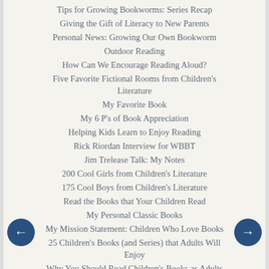Tips for Growing Bookworms: Series Recap
Giving the Gift of Literacy to New Parents
Personal News: Growing Our Own Bookworm
Outdoor Reading
How Can We Encourage Reading Aloud?
Five Favorite Fictional Rooms from Children's Literature
My Favorite Book
My 6 P's of Book Appreciation
Helping Kids Learn to Enjoy Reading
Rick Riordan Interview for WBBT
Jim Trelease Talk: My Notes
200 Cool Girls from Children's Literature
175 Cool Boys from Children's Literature
Read the Books that Your Children Read
My Personal Classic Books
My Mission Statement: Children Who Love Books
25 Children's Books (and Series) that Adults Will Enjoy
Why You Should Read Children's Books as Adults